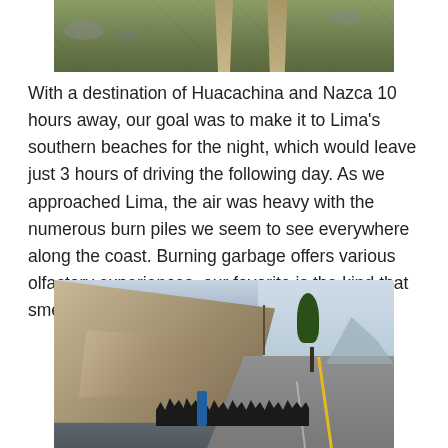[Figure (photo): Aerial or elevated view of a dirt road or path through green hilly terrain]
With a destination of Huacachina and Nazca 10 hours away, our goal was to make it to Lima’s southern beaches for the night, which would leave just 3 hours of driving the following day.  As we approached Lima, the air was heavy with the numerous burn piles we seem to see everywhere along the coast.  Burning garbage offers various olfactory experiences, our favorite is the kind that smells like sage.
[Figure (photo): A herd of cattle and livestock being herded along a coastal highway with large rock formations on the left side and a tree and mountains visible in the background]